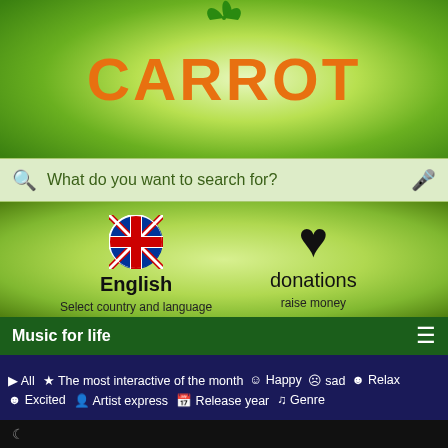[Figure (screenshot): CARROT app logo with orange bold text and green leaf sprouts on green gradient background]
What do you want to search for?
English
Select country and language
donations
raise money
Music for life
▶ All  ☆ The most interactive of the month  ☺ Happy  ☹ sad  ☺ Relax
☺ Excited  👤 Artist express  📅 Release year  ♫ Genre
[Figure (photo): Video thumbnail showing Guns N' Roses - November Rain with two side-by-side frames of singer with long hair looking up]